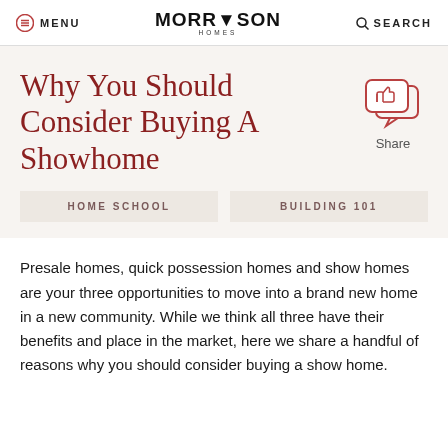MENU  MORRISON HOMES  SEARCH
Why You Should Consider Buying A Showhome
[Figure (illustration): Share icon: two overlapping speech bubbles with a thumbs-up symbol, in red outline style, with the word 'Share' below]
HOME SCHOOL
BUILDING 101
Presale homes, quick possession homes and show homes are your three opportunities to move into a brand new home in a new community. While we think all three have their benefits and place in the market, here we share a handful of reasons why you should consider buying a show home.